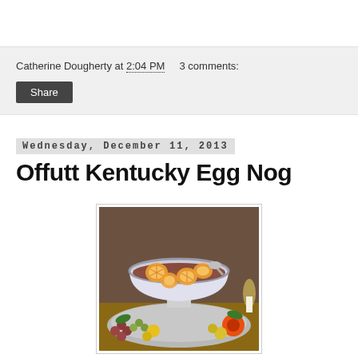Catherine Dougherty at 2:04 PM    3 comments:
Share
Wednesday, December 11, 2013
Offutt Kentucky Egg Nog
[Figure (photo): A decorative punch bowl filled with egg nog and floating orange slices, served on an ornate silver platter decorated with fresh fruits and flowers including oranges, grapes, and a gerbera daisy.]